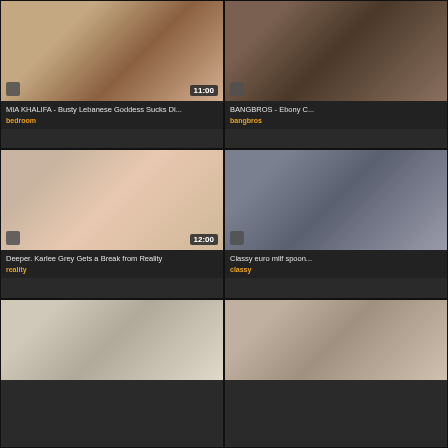[Figure (photo): Video thumbnail - adult content card 1 with duration 11:00]
MIA KHALIFA - Busty Lebanese Goddess Sucks Di...
bedroom
[Figure (photo): Video thumbnail - adult content card 2 partial, BANGBROS - Ebony C...]
BANGBROS - Ebony C...
bangbros
[Figure (photo): Video thumbnail - adult content card 3 with duration 12:00]
Deeper. Karlee Grey Gets a Break from Reality
reality
[Figure (photo): Video thumbnail - adult content card 4 partial, Classy euro milf spoon...]
Classy euro milf spoon...
classy
[Figure (photo): Video thumbnail - adult content card 5, bottom left partial]
[Figure (photo): Video thumbnail - adult content card 6, bottom right partial]